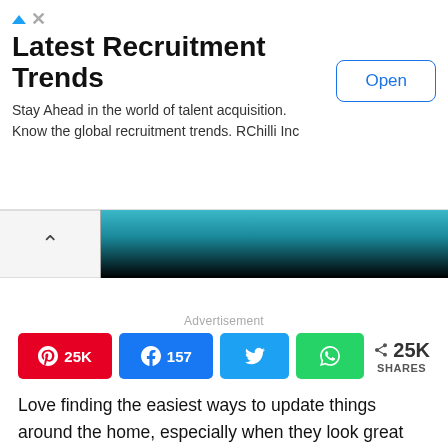[Figure (screenshot): Ad banner for 'Latest Recruitment Trends' by RChilli Inc with an 'Open' button]
Latest Recruitment Trends
Stay Ahead in the world of talent acquisition. Know the global recruitment trends. RChilli Inc
[Figure (photo): Partial image of a home interior with teal/blue tones and a black bar, with a chevron (up arrow) button on the left]
Advertisement
25K  157  25K SHARES
Love finding the easiest ways to update things around the home, especially when they look great and save money? These cheap and easy but cool remodeling hacks should be at the top of your list, then. From DIY bathroom ideas to kitchen projects to walls and countertops, we found some